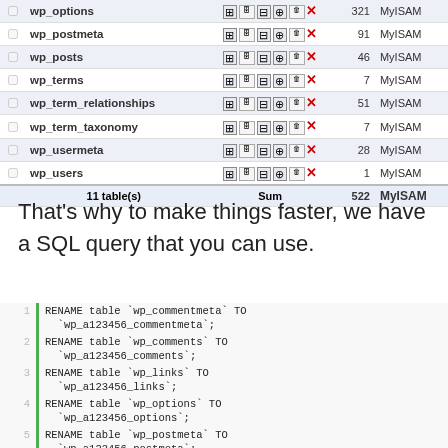|  | Table | Actions | Rows | Type |
| --- | --- | --- | --- | --- |
| ☐ | wp_options | icons | 321 | MyISAM |
| ☐ | wp_postmeta | icons | 91 | MyISAM |
| ☐ | wp_posts | icons | 46 | MyISAM |
| ☐ | wp_terms | icons | 7 | MyISAM |
| ☐ | wp_term_relationships | icons | 51 | MyISAM |
| ☐ | wp_term_taxonomy | icons | 7 | MyISAM |
| ☐ | wp_usermeta | icons | 28 | MyISAM |
| ☐ | wp_users | icons | 1 | MyISAM |
|  | 11 table(s) | Sum | 522 | MyISAM |
That's why to make things faster, we have a SQL query that you can use.
1 RENAME table `wp_commentmeta` TO `wp_a123456_commentmeta`;
2 RENAME table `wp_comments` TO `wp_a123456_comments`;
3 RENAME table `wp_links` TO `wp_a123456_links`;
4 RENAME table `wp_options` TO `wp_a123456_options`;
5 RENAME table `wp_postmeta` TO `wp_a123456_postmeta`;
6 RENAME table `wp_posts` TO `wp_a123456_posts`;